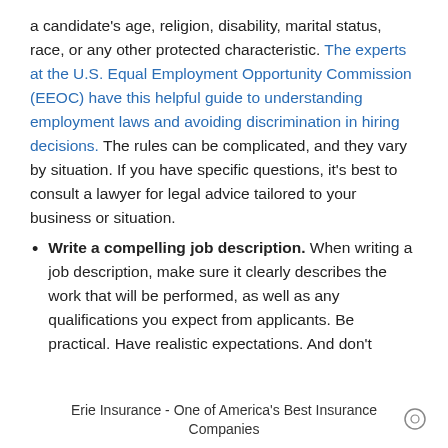a candidate's age, religion, disability, marital status, race, or any other protected characteristic. The experts at the U.S. Equal Employment Opportunity Commission (EEOC) have this helpful guide to understanding employment laws and avoiding discrimination in hiring decisions. The rules can be complicated, and they vary by situation. If you have specific questions, it's best to consult a lawyer for legal advice tailored to your business or situation.
Write a compelling job description. When writing a job description, make sure it clearly describes the work that will be performed, as well as any qualifications you expect from applicants. Be practical. Have realistic expectations. And don't
Erie Insurance - One of America's Best Insurance Companies